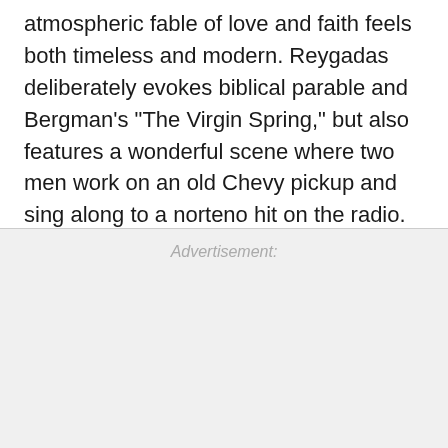atmospheric fable of love and faith feels both timeless and modern. Reygadas deliberately evokes biblical parable and Bergman's "The Virgin Spring," but also features a wonderful scene where two men work on an old Chevy pickup and sing along to a norteno hit on the radio.
Advertisement: